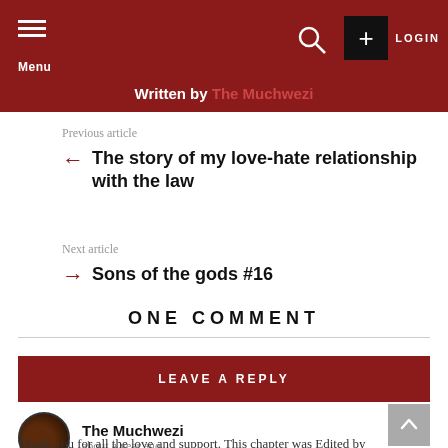Written by The Muchwezi
Previous article
← The story of my love-hate relationship with the law
Next article
→ Sons of the gods #16
ONE COMMENT
LEAVE A REPLY
The Muchwezi
about a year ago
Thank you for all the love and support. This chapter was Edited by